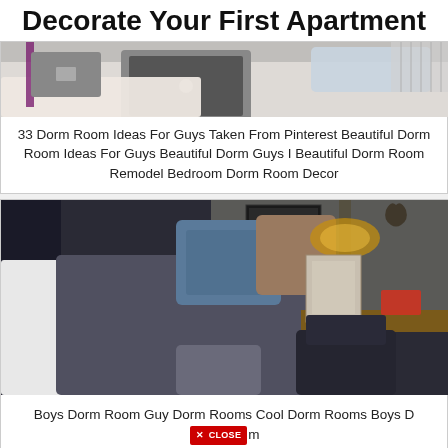Decorate Your First Apartment
[Figure (photo): Dorm room bed with laptop and light bedding, top portion of image]
33 Dorm Room Ideas For Guys Taken From Pinterest Beautiful Dorm Room Ideas For Guys Beautiful Dorm Guys I Beautiful Dorm Room Remodel Bedroom Dorm Room Decor
[Figure (photo): Boys dorm room with dark bedding, blue pillow, lamp, nightstand with photo frame, and leather chair]
Boys Dorm Room Guy Dorm Rooms Cool Dorm Rooms Boys Dorm Room